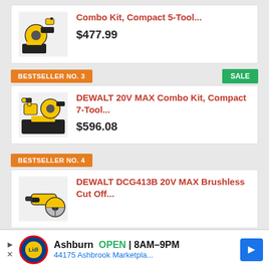[Figure (photo): DEWALT 20V MAX Combo Kit, Compact 5-Tool product image with yellow/black power tools]
Combo Kit, Compact 5-Tool...
$477.99
BESTSELLER NO. 3
SALE
[Figure (photo): DEWALT 20V MAX Combo Kit, Compact 7-Tool product image with yellow/black power tools in bag]
DEWALT 20V MAX Combo Kit, Compact 7-Tool...
$596.08
BESTSELLER NO. 4
[Figure (photo): DEWALT DCG413B 20V MAX Brushless Cut Off tool product image]
DEWALT DCG413B 20V MAX Brushless Cut Off...
BESTSELLER NO. 5
SALE
[Figure (photo): Shark NV356E S2 vacuum cleaner slim product image]
Shark NV356E S2
Ashburn OPEN 8AM–9PM
44175 Ashbrook Marketpla...